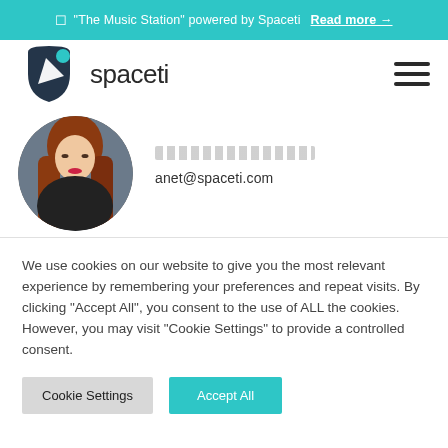"The Music Station" powered by Spaceti  Read more →
[Figure (logo): Spaceti logo: dark navy shield/arrow icon with teal dot, and the word 'spaceti' in dark text]
[Figure (photo): Circular profile photo of a young woman with long auburn hair, wearing a black turtleneck, photographed outdoors]
anet@spaceti.com
We use cookies on our website to give you the most relevant experience by remembering your preferences and repeat visits. By clicking "Accept All", you consent to the use of ALL the cookies. However, you may visit "Cookie Settings" to provide a controlled consent.
Cookie Settings | Accept All